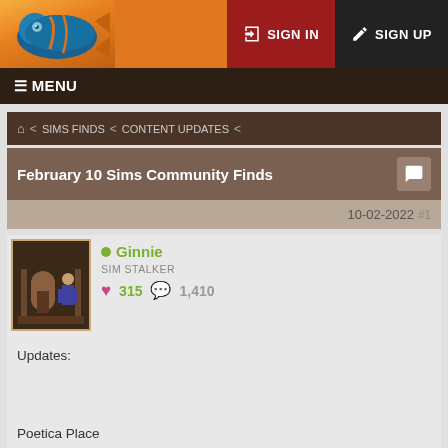SIGN IN  SIGN UP
≡ MENU
⌂  <  SIMS FINDS  <  CONTENT UPDATES  <
February 10 Sims Community Finds
10-02-2022 #1
● Ginnie
SIM STALKER
♥ 315  💬 1,410
Updates:


Poetica Place
Sims 1
Hospital theme
https://poeticaplace.weebly.com/hospital.html